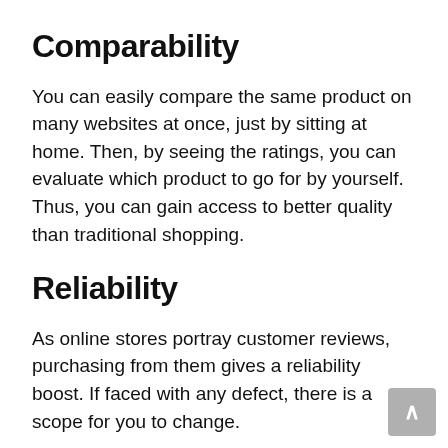Comparability
You can easily compare the same product on many websites at once, just by sitting at home. Then, by seeing the ratings, you can evaluate which product to go for by yourself. Thus, you can gain access to better quality than traditional shopping.
Reliability
As online stores portray customer reviews,  purchasing from them gives a reliability boost. If faced with any defect, there is a scope for you to change.